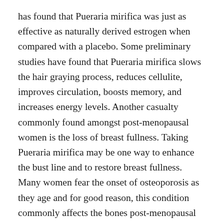has found that Pueraria mirifica was just as effective as naturally derived estrogen when compared with a placebo. Some preliminary studies have found that Pueraria mirifica slows the hair graying process, reduces cellulite, improves circulation, boosts memory, and increases energy levels. Another casualty commonly found amongst post-menopausal women is the loss of breast fullness. Taking Pueraria mirifica may be one way to enhance the bust line and to restore breast fullness. Many women fear the onset of osteoporosis as they age and for good reason, this condition commonly affects the bones post-menopausal women.
The herb is highly estrogenic as a result, and is considered the standard herbal ‘estrogen replacement therapy’ due to its potencies. Mirifica is a highly estrogenic herb which is used as herbal estrogen replacement therapy. If you do choose to experiment with any of these herbs that increase estrogen, my advice would be to monitor your dosage carefully. It can